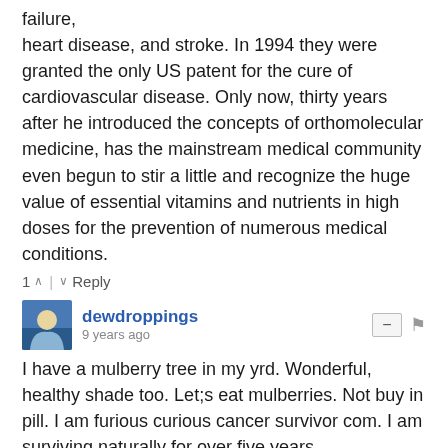failure, heart disease, and stroke. In 1994 they were granted the only US patent for the cure of cardiovascular disease. Only now, thirty years after he introduced the concepts of orthomolecular medicine, has the mainstream medical community even begun to stir a little and recognize the huge value of essential vitamins and nutrients in high doses for the prevention of numerous medical conditions.
1 ^ | v Reply
dewdroppings
9 years ago
I have a mulberry tree in my yrd. Wonderful, healthy shade too. Let;s eat mulberries. Not buy in pill. I am furious curious cancer survivor com. I am surviving naturally for over five years.
7 ^ | v Reply
Guest
9 years ago
So very glad to see this posted. Mulberry is a common treatment for diabetes in the Middle East but this just emphasizes the importance of the leaves and fruit. Where can